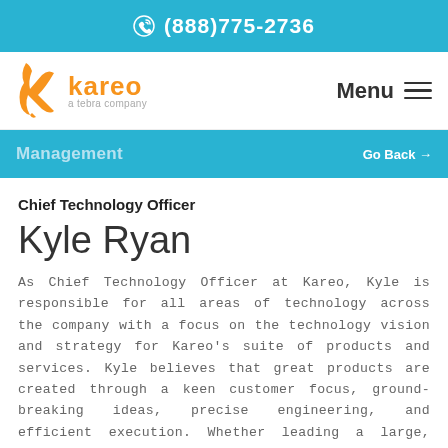(888)775-2736
[Figure (logo): Kareo - a tebra company logo with orange K icon]
Menu
Management
Go Back →
Chief Technology Officer
Kyle Ryan
As Chief Technology Officer at Kareo, Kyle is responsible for all areas of technology across the company with a focus on the technology vision and strategy for Kareo's suite of products and services. Kyle believes that great products are created through a keen customer focus, ground-breaking ideas, precise engineering, and efficient execution. Whether leading a large, global organization or a small pocket of